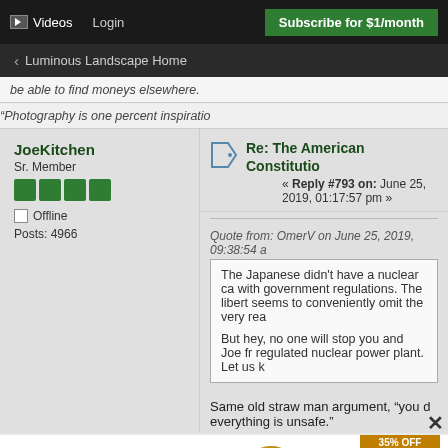Videos  Login  Subscribe for $1/month
< Luminous Landscape Home
be able to find moneys elsewhere.
"Photography is one percent inspiratio
JoeKitchen
Sr. Member
Offline
Posts: 4966
Re: The American Constitutio
« Reply #793 on: June 25, 2019, 01:17:57 pm »
Quote from: OmerV on June 25, 2019, 09:38:54 a
The Japanese didn't have a nuclear ca with government regulations. The libert seems to conveniently omit the very rea

But hey, no one will stop you and Joe fr regulated nuclear power plant. Let us k
Same old straw man argument, "you d everything is unsafe."
[Figure (infographic): Advertisement: The perfect gift - food product with 35% OFF + FREE SHIPPING offer]